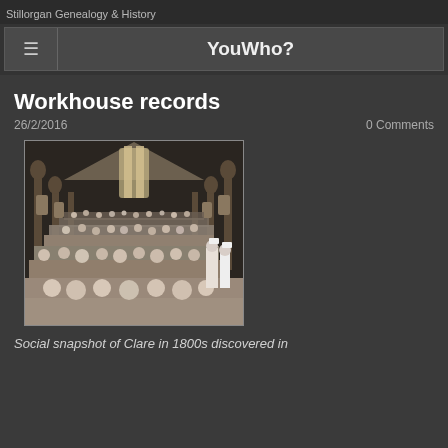Stillorgan Genealogy & History
YouWho?
Workhouse records
26/2/2016   0 Comments
[Figure (photo): Black and white photograph of a large hall crowded with workhouse inmates seated at long tables, with arched windows and high ceilings. Nurses or supervisors stand at the sides.]
Social snapshot of Clare in 1800s discovered in